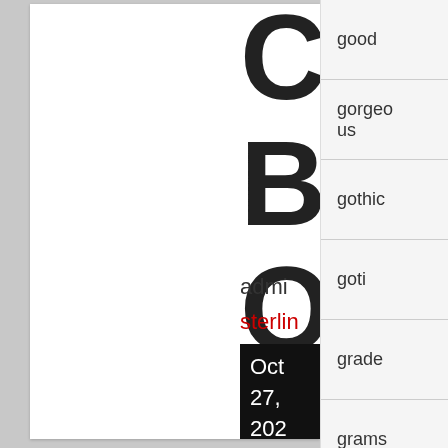[Figure (screenshot): A screenshot of a web interface showing large partially cropped letters (C, B, O, Q) on a white document panel, with text including 'admi', 'sterling' in red, and a black date box showing 'Oct 27, 202'. On the right side is a sidebar navigation list with items: good, gorgeous, gothic, goti, grade, grams.]
good
gorgeous
gothic
goti
grade
grams